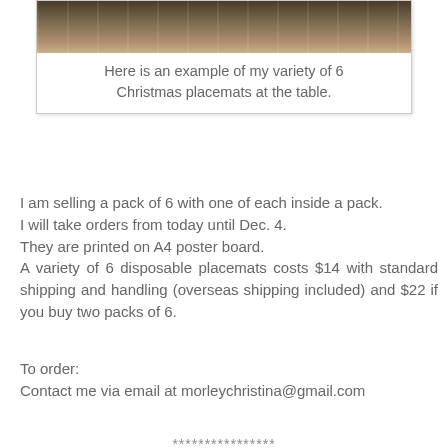[Figure (photo): Photo of Christmas placemats laid out on a table, showing a variety of 6 designs.]
Here is an example of my variety of 6 Christmas placemats at the table.
I am selling a pack of 6 with one of each inside a pack.
I will take orders from today until Dec. 4.
They are printed on A4 poster board.
A variety of 6 disposable placemats costs $14 with standard shipping and handling (overseas shipping included) and $22 if you buy two packs of 6.
To order:
Contact me via email at morleychristina@gmail.com
****************